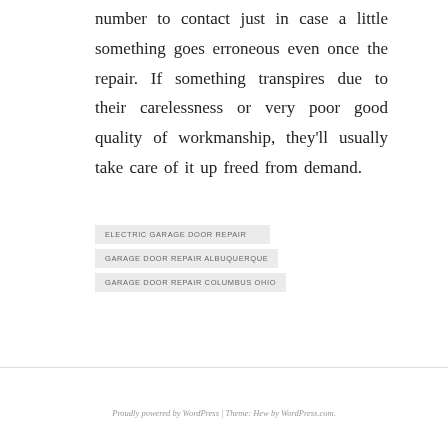number to contact just in case a little something goes erroneous even once the repair. If something transpires due to their carelessness or very poor good quality of workmanship, they'll usually take care of it up freed from demand.
ELECTRIC GARAGE DOOR REPAIR
GARAGE DOOR REPAIR ALBUQUERQUE
GARAGE DOOR REPAIR COLUMBUS OHIO
Proudly powered by WordPress | Theme: Hew by WordPress.com.